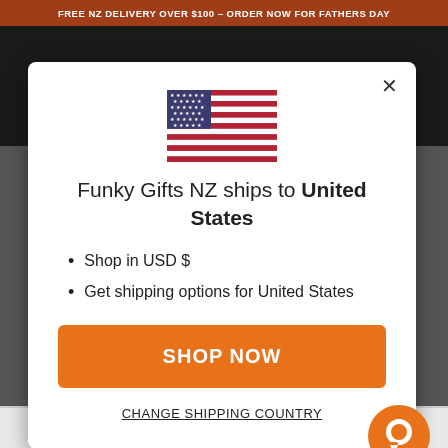FREE NZ DELIVERY OVER $100 – ORDER NOW FOR FATHERS DAY
[Figure (illustration): US flag emoji/icon centered in modal]
Funky Gifts NZ ships to United States
Shop in USD $
Get shipping options for United States
SHOP NOW
CHANGE SHIPPING COUNTRY
CHEERSARRIVED ON TIME 2B SENT ON TO